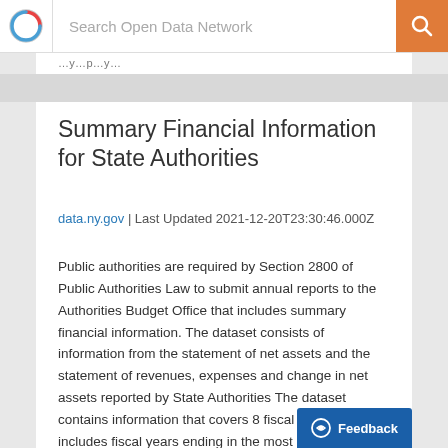Search Open Data Network
Summary Financial Information for State Authorities
data.ny.gov | Last Updated 2021-12-20T23:30:46.000Z
Public authorities are required by Section 2800 of Public Authorities Law to submit annual reports to the Authorities Budget Office that includes summary financial information. The dataset consists of information from the statement of net assets and the statement of revenues, expenses and change in net assets reported by State Authorities The dataset contains information that covers 8 fiscal years, which includes fiscal years ending in the most recently completed calendar year.